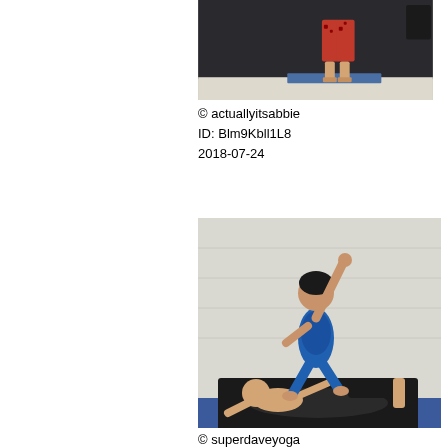[Figure (photo): A person standing on a stage in red patterned cropped pants, viewed from mid-torso down, on a blue mat with dark curtain backdrop]
© actuallyitsabbie
ID: Blm9Kbll1L8
2018-07-24
[Figure (photo): Two people performing acro-yoga: one person lying on black mats on the floor supporting another person balanced on their feet, with the top person in a blue leotard reaching upward]
© superdaveyoga
ID: BllzBwiHrdZ
2018-07-23